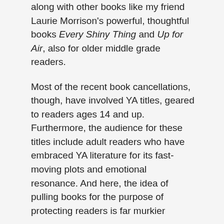along with other books like my friend Laurie Morrison's powerful, thoughtful books Every Shiny Thing and Up for Air, also for older middle grade readers.
Most of the recent book cancellations, though, have involved YA titles, geared to readers ages 14 and up. Furthermore, the audience for these titles include adult readers who have embraced YA literature for its fast-moving plots and emotional resonance. And here, the idea of pulling books for the purpose of protecting readers is far murkier